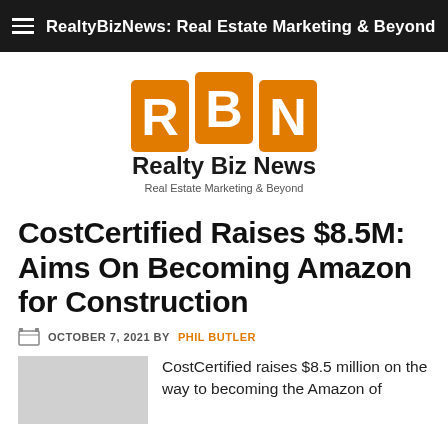RealtyBizNews: Real Estate Marketing & Beyond
[Figure (logo): Realty Biz News logo with orange RBN letter blocks and tagline 'Real Estate Marketing & Beyond']
CostCertified Raises $8.5M: Aims On Becoming Amazon for Construction
OCTOBER 7, 2021 BY PHIL BUTLER
CostCertified raises $8.5 million on the way to becoming the Amazon of